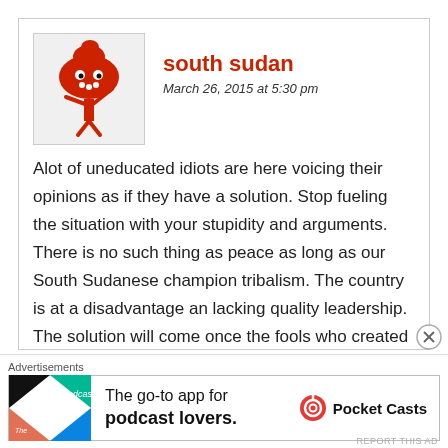south sudan
March 26, 2015 at 5:30 pm
Alot of uneducated idiots are here voicing their opinions as if they have a solution. Stop fueling the situation with your stupidity and arguments. There is no such thing as peace as long as our South Sudanese champion tribalism. The country is at a disadvantage an lacking quality leadership. The solution will come once the fools who created this chaos are tried by the people of South Sudan and punished for their crimes.
Advertisements
The go-to app for podcast lovers.
Pocket Casts